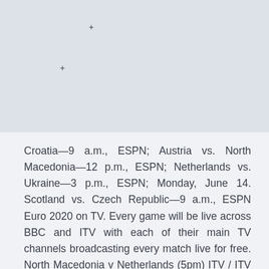[Figure (photo): Light gray/blue image area with two small cross/plus markers visible]
Croatia—9 a.m., ESPN; Austria vs. North Macedonia—12 p.m., ESPN; Netherlands vs. Ukraine—3 p.m., ESPN; Monday, June 14. Scotland vs. Czech Republic—9 a.m., ESPN Euro 2020 on TV. Every game will be live across BBC and ITV with each of their main TV channels broadcasting every match live for free. North Macedonia v Netherlands (5pm) ITV / ITV Hub. Group Netherland vs North Macedonia Sports Klub Sports Klub is the Official Broadcaster of UEFA Euro 2020 from North Macedonia.